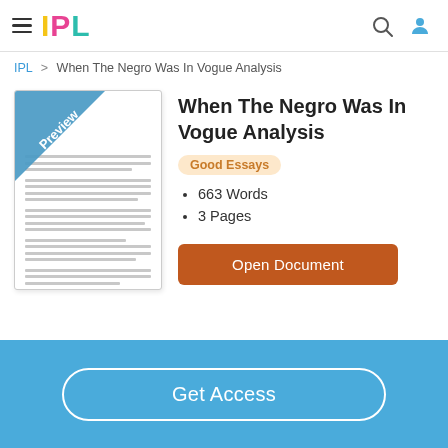IPL
IPL > When The Negro Was In Vogue Analysis
[Figure (illustration): Document preview thumbnail with 'Preview' diagonal banner in blue]
When The Negro Was In Vogue Analysis
Good Essays
663 Words
3 Pages
Open Document
Get Access